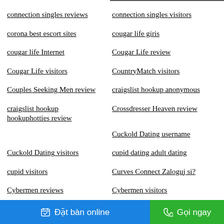connection singles reviews
connection singles visitors
corona best escort sites
cougar life giris
cougar life Internet
Cougar Life review
Cougar Life visitors
CountryMatch visitors
Couples Seeking Men review
craigslist hookup anonymous
craigslist hookup hookuphotties review
Crossdresser Heaven review
Cuckold Dating username
Cuckold Dating visitors
cupid dating adult dating
cupid visitors
Curves Connect Zaloguj si?
Cybermen reviews
Cybermen visitors
Đặt bàn online   Gọi ngay